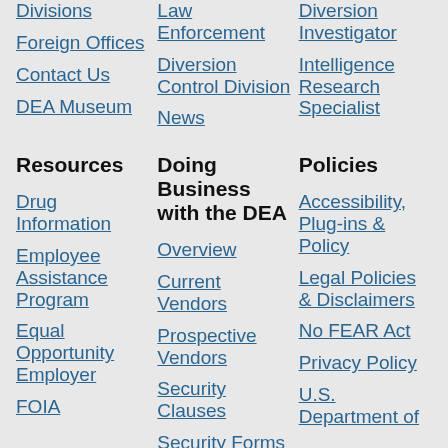Divisions
Foreign Offices
Contact Us
DEA Museum
Law Enforcement
Diversion Control Division
News
Diversion Investigator
Intelligence Research Specialist
Resources
Doing Business with the DEA
Policies
Drug Information
Employee Assistance Program
Equal Opportunity Employer
FOIA
Overview
Current Vendors
Prospective Vendors
Security Clauses
Security Forms
Accessibility, Plug-ins & Policy
Legal Policies & Disclaimers
No FEAR Act
Privacy Policy
U.S. Department of